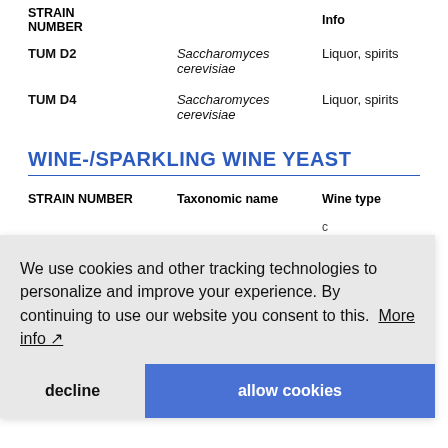| STRAIN NUMBER | Taxonomic name | Beverage type / Info |
| --- | --- | --- |
| TUM D2 | Saccharomyces cerevisiae | Liquor, spirits |
| TUM D4 | Saccharomyces cerevisiae | Liquor, spirits |
WINE-/SPARKLING WINE YEAST
| STRAIN NUMBER | Taxonomic name | Wine type |
| --- | --- | --- |
| TUM V15 | Saccharomyces cerevisiae | Epernay |
We use cookies and other tracking technologies to personalize and improve your experience. By continuing to use our website you consent to this. More info